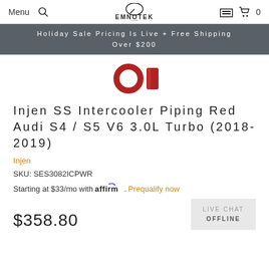Menu | emnotek | 0
Holiday Sale Pricing Is Live + Free Shipping Over $200
[Figure (photo): Partial product image showing red intercooler piping components against white background]
Injen SS Intercooler Piping Red Audi S4 / S5 V6 3.0L Turbo (2018-2019)
Injen
SKU: SES3082ICPWR
Starting at $33/mo with affirm. Prequalify now
$358.80